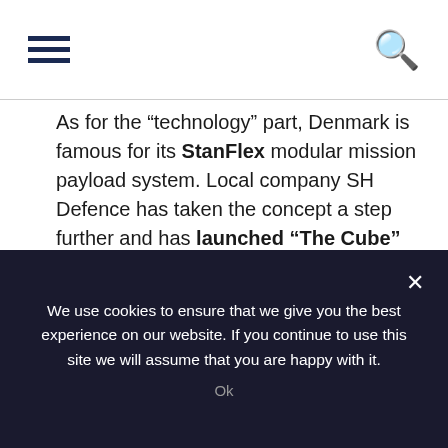[hamburger menu icon] [search icon]
As for the “technology” part, Denmark is famous for its StanFlex modular mission payload system. Local company SH Defence has taken the concept a step further and has launched “The Cube” concept in 2020. The “technology” could also come form TERMA which is a famous Danish defense company specializing in various naval systems such as radars, combat systems and decoy launchers.
We use cookies to ensure that we give you the best experience on our website. If you continue to use this site we will assume that you are happy with it.
Ok